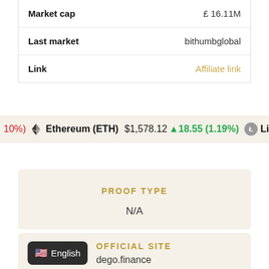| Field | Value |
| --- | --- |
| Market cap | £16.11M |
| Last market | bithumbglobal |
| Link | Affiliate link |
10%) $1,578.12 ▲18.55 (1.19%) $56.97 ▲ | Ethereum (ETH) | Litec...
PROOF TYPE
N/A
OFFICIAL SITE
dego.finance